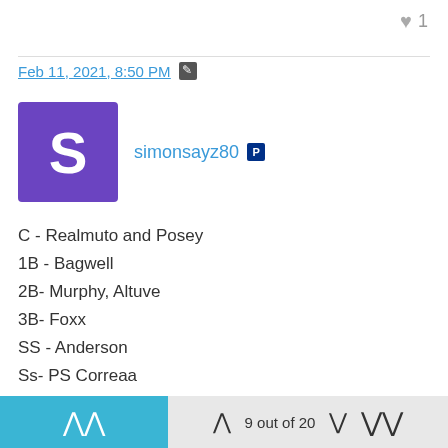♥ 1
Feb 11, 2021, 8:50 PM [edit]
simonsayz80 [PS icon]
C - Realmuto and Posey
1B - Bagwell
2B- Murphy, Altuve
3B- Foxx
SS - Anderson
Ss- PS Correaa
CF- Acuna
RF- Betts
SP - Buehler
9 out of 20